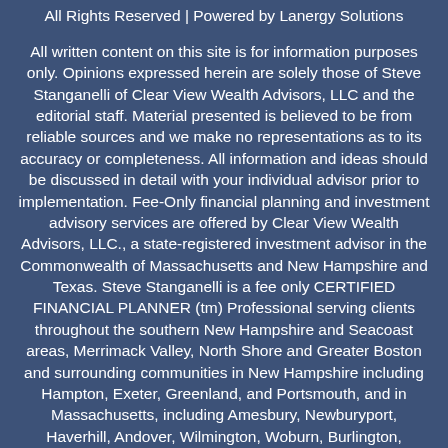All Rights Reserved | Powered by Lanergy Solutions
All written content on this site is for information purposes only. Opinions expressed herein are solely those of Steve Stanganelli of Clear View Wealth Advisors, LLC and the editorial staff. Material presented is believed to be from reliable sources and we make no representations as to its accuracy or completeness. All information and ideas should be discussed in detail with your individual advisor prior to implementation. Fee-Only financial planning and investment advisory services are offered by Clear View Wealth Advisors, LLC., a state-registered investment advisor in the Commonwealth of Massachusetts and New Hampshire and Texas. Steve Stanganelli is a fee only CERTIFIED FINANCIAL PLANNER (tm) Professional serving clients throughout the southern New Hampshire and Seacoast areas, Merrimack Valley, North Shore and Greater Boston and surrounding communities in New Hampshire including Hampton, Exeter, Greenland, and Portsmouth, and in Massachusetts, including Amesbury, Newburyport, Haverhill, Andover, Wilmington, Woburn, Burlington, Waltham, and side Topsfield, Medford, Malden...